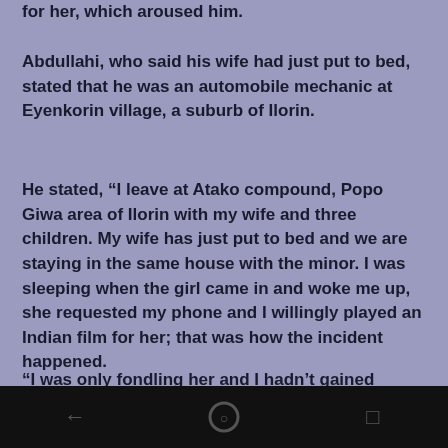for her, which aroused him.
Abdullahi, who said his wife had just put to bed, stated that he was an automobile mechanic at Eyenkorin village, a suburb of Ilorin.
He stated, “I leave at Atako compound, Popo Giwa area of Ilorin with my wife and three children. My wife has just put to bed and we are staying in the same house with the minor. I was sleeping when the girl came in and woke me up, she requested my phone and I willingly played an Indian film for her; that was how the incident happened.
“I was only fondling her and I hadn’t gained access to her private parts.”
The spokesman for the NSCDC in the state...